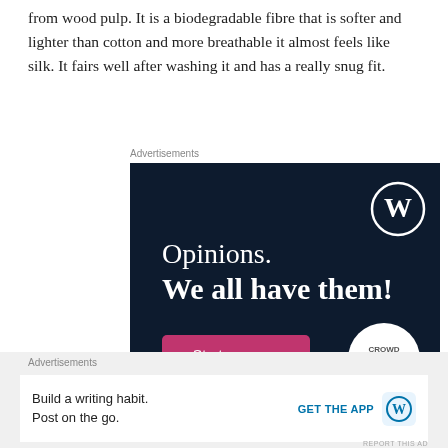from wood pulp. It is a biodegradable fibre that is softer and lighter than cotton and more breathable it almost feels like silk. It fairs well after washing it and has a really snug fit.
Advertisements
[Figure (screenshot): Dark navy blue advertisement banner for WordPress/CrowdSignal. Shows WordPress logo (W in circle) top right, text 'Opinions. We all have them!' in white serif font, a pink 'Start a survey' button bottom left, and CrowdSignal logo in white circle bottom right.]
REPORT THIS AD
Advertisements
[Figure (screenshot): Light grey advertisement bar. Text: 'Build a writing habit. Post on the go.' with 'GET THE APP' link and WordPress logo icon on the right.]
REPORT THIS AD